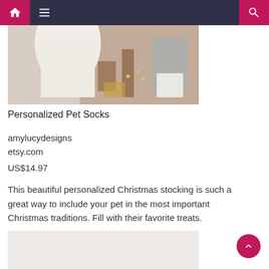Navigation bar with home, menu, and search icons
[Figure (photo): Product photo of a personalized Christmas pet stocking in white/cream color against a brick wall background with decorative items]
Personalized Pet Socks
amylucydesigns
etsy.com
US$14.97
This beautiful personalized Christmas stocking is such a great way to include your pet in the most important Christmas traditions. Fill with their favorite treats.
[Figure (photo): Partial view of a second product image]